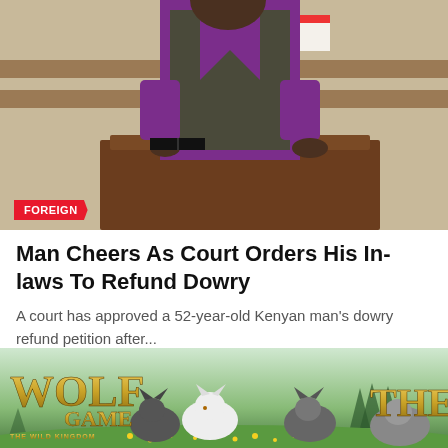[Figure (photo): A man in a purple long-sleeve shirt and dark vest/jacket stands behind a wooden dock or podium in what appears to be a courtroom. Wooden benches are visible in the background. A red badge labeled 'FOREIGN' is overlaid at the bottom-left of the image.]
Man Cheers As Court Orders His In-laws To Refund Dowry
A court has approved a 52-year-old Kenyan man's dowry refund petition after...
Tapre Timine · May 16, 2022
[Figure (advertisement): Wolf Game: The Wild Kingdom advertisement banner showing wolves in a meadow with yellow flowers and pine trees in the background.]